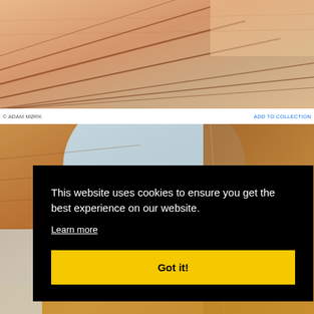[Figure (photo): Close-up of wooden architectural panels with diagonal striped shadow patterns, warm peach/beige tones]
© ADAM MØRK   ADD TO COLLECTION
[Figure (photo): Curved wooden ceiling/interior architecture with blue-grey skylight opening, warm honey oak tones]
This website uses cookies to ensure you get the best experience on our website.
Learn more
Got it!